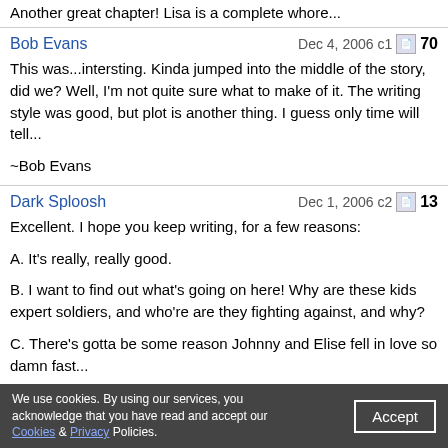Another great chapter! Lisa is a complete whore...
Bob Evans — Dec 4, 2006 c1 70
This was...intersting. Kinda jumped into the middle of the story, did we? Well, I'm not quite sure what to make of it. The writing style was good, but plot is another thing. I guess only time will tell...

~Bob Evans
Dark Sploosh — Dec 1, 2006 c2 13
Excellent. I hope you keep writing, for a few reasons:

A. It's really, really good.

B. I want to find out what's going on here! Why are these kids expert soldiers, and who're are they fighting against, and why?

C. There's gotta be some reason Johnny and Elise fell in love so damn fast...

Please keep writing. Oh yeah, I updated City of Sorrow again in case you were wondering.
Dark Sploosh — Nov 26, 2006 c1
Holy shit. Carradine, I salute you. This...this is awesome. You MUST continue and finish this. Especially since I have no idea what the heck is going on and want to find out! PLEASE keep writing, this kicks ass!
We use cookies. By using our services, you acknowledge that you have read and accept our Cookies & Privacy Policies. Accept